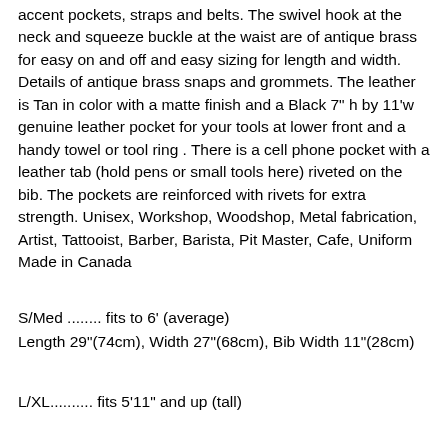accent pockets, straps and belts. The swivel hook at the neck and squeeze buckle at the waist are of antique brass for easy on and off and easy sizing for length and width. Details of antique brass snaps and grommets. The leather is Tan in color with a matte finish and a Black 7" h by 11'w genuine leather pocket for your tools at lower front and a handy towel or tool ring . There is a cell phone pocket with a leather tab (hold pens or small tools here) riveted on the bib. The pockets are reinforced with rivets for extra strength. Unisex, Workshop, Woodshop, Metal fabrication, Artist, Tattooist, Barber, Barista, Pit Master, Cafe, Uniform Made in Canada
S/Med ........ fits to 6' (average)
Length 29"(74cm), Width 27"(68cm), Bib Width 11"(28cm)
L/XL.......... fits 5'11" and up (tall)